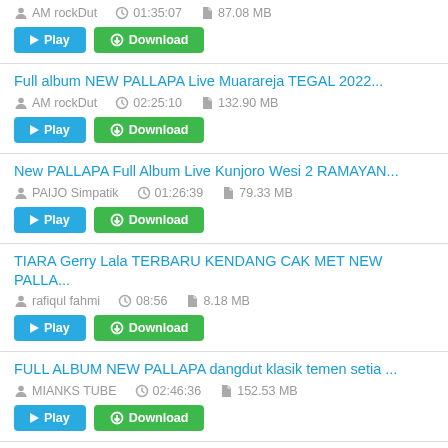AM rockDut | 01:35:07 | 87.08 MB | Play | Download
Full album NEW PALLAPA Live Muarareja TEGAL 2022...
AM rockDut | 02:25:10 | 132.90 MB | Play | Download
New PALLAPA Full Album Live Kunjoro Wesi 2 RAMAYAN...
PAIJO Simpatik | 01:26:39 | 79.33 MB | Play | Download
TIARA Gerry Lala TERBARU KENDANG CAK MET NEW PALLA...
rafiqul fahmi | 08:56 | 8.18 MB | Play | Download
FULL ALBUM NEW PALLAPA dangdut klasik temen setia ...
MIANKS TUBE | 02:46:36 | 152.53 MB | Play | Download
AUDIO ALL NEW PALLAPA LIVE ANCOL 2022...